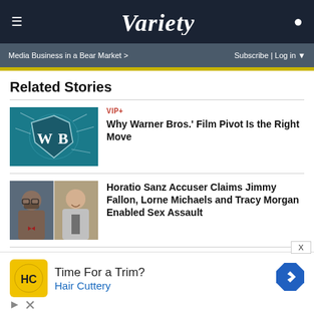VARIETY
Media Business in a Bear Market >    Subscribe | Log in
Related Stories
[Figure (illustration): Warner Bros. logo (WB shield) with shattering glass effect on teal background]
VIP+
Why Warner Bros.' Film Pivot Is the Right Move
[Figure (photo): Two side-by-side photos: Horatio Sanz (left, man with glasses and beard in red bow tie) and Jimmy Fallon (right, man in suit smiling)]
Horatio Sanz Accuser Claims Jimmy Fallon, Lorne Michaels and Tracy Morgan Enabled Sex Assault
The event started with an in-person speech by one of the
[Figure (other): Hair Cuttery advertisement: yellow logo with HC, Time For a Trim? text, Hair Cuttery subtext, blue directional arrow icon]